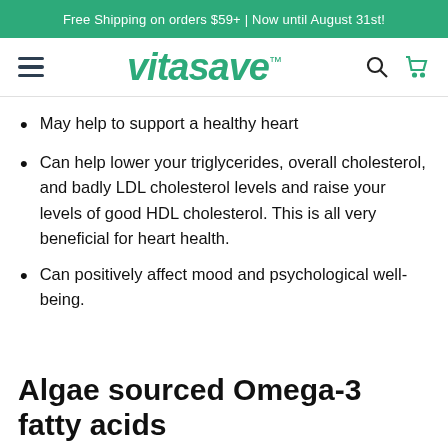Free Shipping on orders $59+ | Now until August 31st!
[Figure (logo): Vitasave logo with hamburger menu, search icon, and cart icon navigation bar]
May help to support a healthy heart
Can help lower your triglycerides, overall cholesterol, and badly LDL cholesterol levels and raise your levels of good HDL cholesterol. This is all very beneficial for heart health.
Can positively affect mood and psychological well-being.
Algae sourced Omega-3 fatty acids